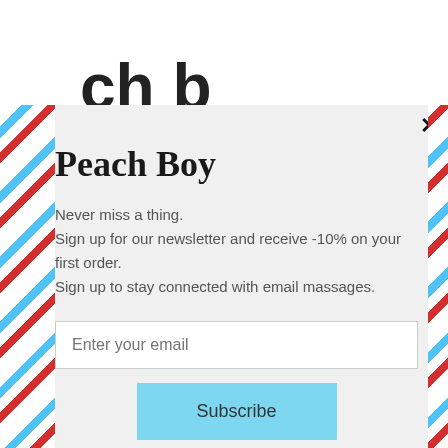Peach Boy
Never miss a thing.
Sign up for our newsletter and receive -10% on your first order.
Sign up to stay connected with email massages.
Enter your email
Subscribe
powered by MailMunch